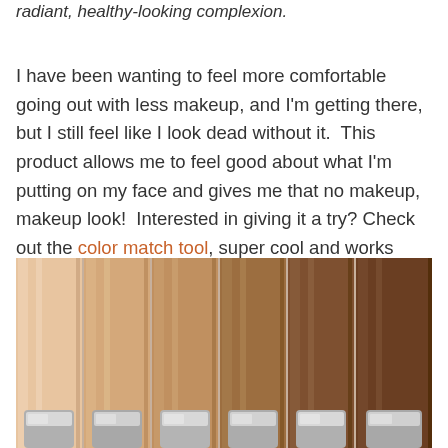radiant, healthy-looking complexion.
I have been wanting to feel more comfortable going out with less makeup, and I'm getting there, but I still feel like I look dead without it.  This product allows me to feel good about what I'm putting on my face and gives me that no makeup, makeup look!  Interested in giving it a try? Check out the color match tool, super cool and works great!!
[Figure (photo): Row of foundation bottles in various shades from light to dark, with metallic caps at the bottom, photographed from above on a white background.]